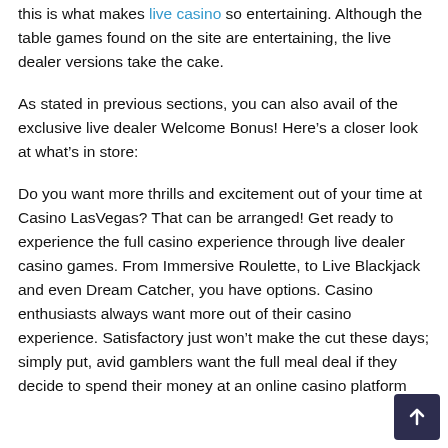this is what makes live casino so entertaining. Although the table games found on the site are entertaining, the live dealer versions take the cake.
As stated in previous sections, you can also avail of the exclusive live dealer Welcome Bonus! Here's a closer look at what's in store:
Do you want more thrills and excitement out of your time at Casino LasVegas? That can be arranged! Get ready to experience the full casino experience through live dealer casino games. From Immersive Roulette, to Live Blackjack and even Dream Catcher, you have options. Casino enthusiasts always want more out of their casino experience. Satisfactory just won't make the cut these days; simply put, avid gamblers want the full meal deal if they decide to spend their money at an online casino platform